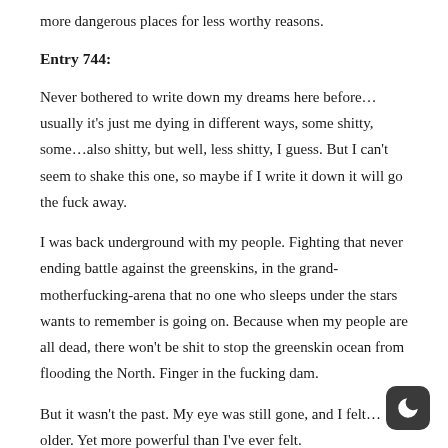more dangerous places for less worthy reasons.
Entry 744:
Never bothered to write down my dreams here before…usually it's just me dying in different ways, some shitty, some…also shitty, but well, less shitty, I guess.  But I can't seem to shake this one, so maybe if I write it down it will go the fuck away.
I was back underground with my people.  Fighting that never ending battle against the greenskins, in the grand-motherfucking-arena that no one who sleeps under the stars wants to remember is going on.  Because when my people are all dead, there won't be shit to stop the greenskin ocean from flooding the North.  Finger in the fucking dam.
But it wasn't the past.  My eye was still gone, and I felt…older.  Yet more powerful than I've ever felt.
I suppose it goes without saying, but I've had power before.  The kind of power most people couldn't even fuckin' dream of.  This was…different.  You know how when you're really, really, really, really fucking drunk, you feel like you're